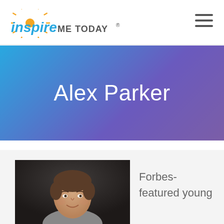[Figure (logo): Inspire Me Today logo with sun rays icon and text 'inspire ME TODAY®']
[Figure (other): Hamburger menu icon (three horizontal lines)]
Alex Parker
[Figure (photo): Portrait photo of a young man with short dark hair, smiling, wearing a grey top, dark background]
Forbes-featured young